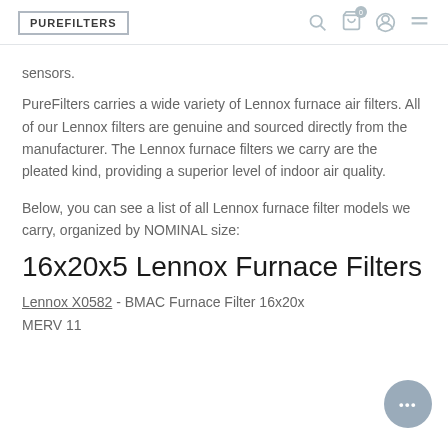PUREFILTERS
sensors.
PureFilters carries a wide variety of Lennox furnace air filters. All of our Lennox filters are genuine and sourced directly from the manufacturer. The Lennox furnace filters we carry are the pleated kind, providing a superior level of indoor air quality.
Below, you can see a list of all Lennox furnace filter models we carry, organized by NOMINAL size:
16x20x5 Lennox Furnace Filters
Lennox X0582 - BMAC Furnace Filter 16x20x MERV 11